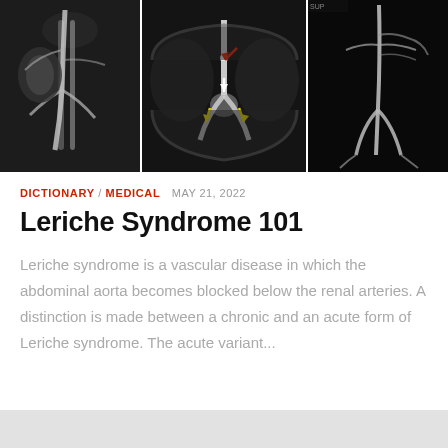[Figure (photo): Three medical imaging scans showing vascular anatomy related to Leriche Syndrome. Left: MRA/CT angiography showing abdominal vessels in grayscale. Center: CT scan with colored arrows (red and yellow) indicating areas of aortic occlusion at bifurcation. Right: MRA showing full abdominal and pelvic vasculature on black background.]
DICTIONARY / MEDICAL  MAY 21, 2022
Leriche Syndrome 101
Leriche syndrome is a vascular disease in which the abdominal aorta becomes blocked below the renal arteries. A distinction is made between a chronic and an acute form of Leriche syndrome. The acute variant...